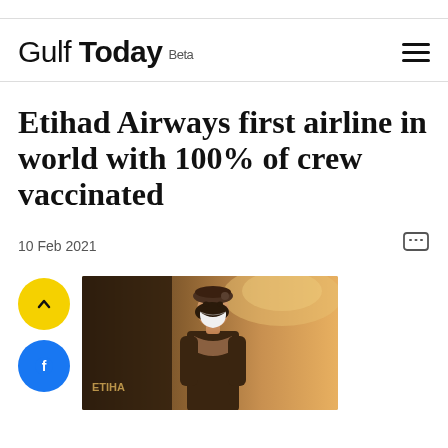Gulf Today Beta
Etihad Airways first airline in world with 100% of crew vaccinated
10 Feb 2021
[Figure (photo): Etihad Airways flight attendant wearing a mask and brown beret hat, standing in aircraft cabin with warm golden lighting]